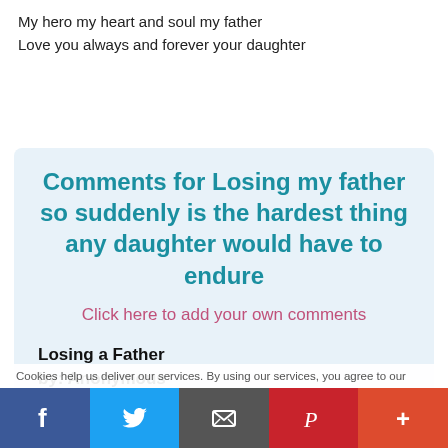My hero my heart and soul my father
Love you always and forever your daughter
Comments for Losing my father so suddenly is the hardest thing any daughter would have to endure
Click here to add your own comments
Losing a Father
by: Anonymous
I know the feeling. I lost my daddy July 20 2016. I'm lost without him. He was my rock
Cookies help us deliver our services. By using our services, you agree to our
f  [Twitter]  [Email]  P  +